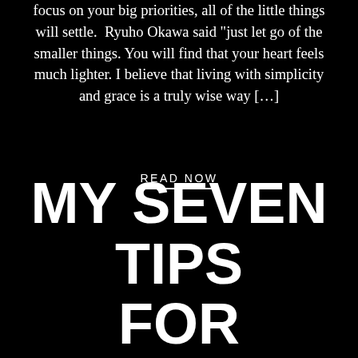focus on your big priorities, all of the little things will settle. Ryuho Okawa said "just let go of the smaller things. You will find that your heart feels much lighter. I believe that living with simplicity and grace is a truly wise way […]
READ NOW
MY SEVEN TIPS FOR